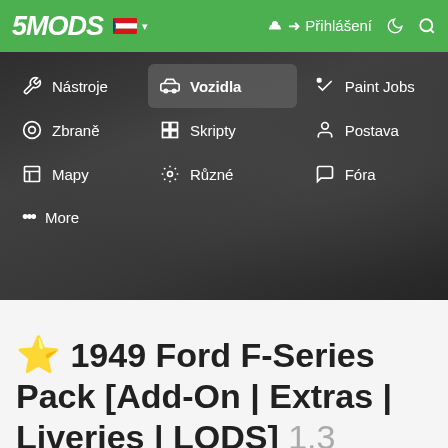5MODS | Přihlášení
[Figure (screenshot): 5Mods website navigation screenshot showing menu with Czech locale. Header bar in green with 5MODS logo, Czech flag, Přihlášení (login) button, moon and search icons. Navigation dropdown with three columns: Nástroje/Zbraně/Mapy/More, Vozidla(highlighted)/Skripty/Různé, Paint Jobs/Postava/Fóra. Background shows blurred dark image.]
⭐ 1949 Ford F-Series Pack [Add-On | Extras | Liveries | LODS] 1.3